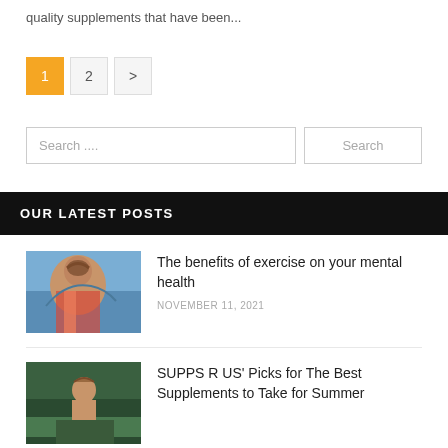quality supplements that have been...
1 2 >
Search ....  Search
OUR LATEST POSTS
[Figure (photo): Woman athlete in profile view against blue sky]
The benefits of exercise on your mental health
NOVEMBER 11, 2021
[Figure (photo): Person outdoors, shirtless, in natural setting]
SUPPS R US' Picks for The Best Supplements to Take for Summer